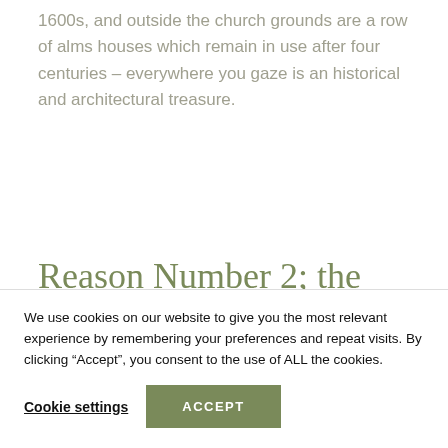1600s, and outside the church grounds are a row of alms houses which remain in use after four centuries – everywhere you gaze is an historical and architectural treasure.
Reason Number 2; the countryside
We use cookies on our website to give you the most relevant experience by remembering your preferences and repeat visits. By clicking “Accept”, you consent to the use of ALL the cookies.
Cookie settings | ACCEPT